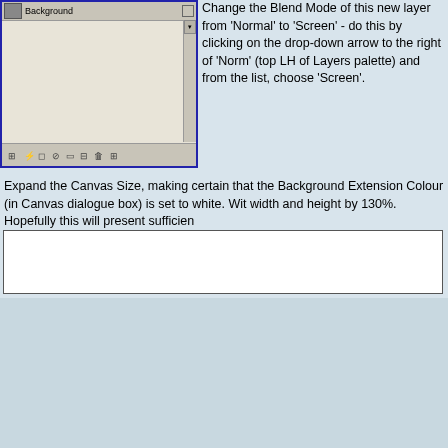[Figure (screenshot): Photoshop-style Layers palette screenshot showing Background layer with toolbar icons at bottom, blue border]
Change the Blend Mode of this new layer from 'Normal' to 'Screen' - do this by clicking on the drop-down arrow to the right of 'Normal' (top LH of Layers palette) and from the list, choose 'Screen'.
Expand the Canvas Size, making certain that the Background Extension Colour (in Canvas dialogue box) is set to white. With width and height by 130%. Hopefully this will present sufficient
[Figure (screenshot): White canvas box area, partially visible]